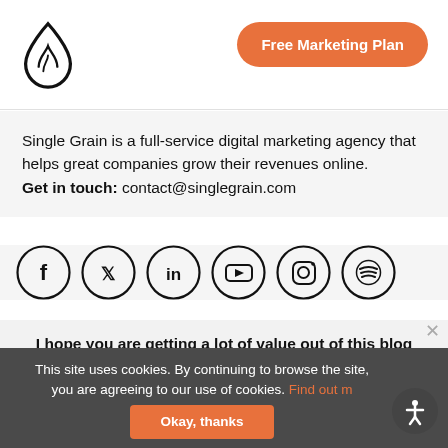[Figure (logo): Single Grain logo - water droplet shape in black outline]
Free Marketing Plan
Single Grain is a full-service digital marketing agency that helps great companies grow their revenues online. Get in touch: contact@singlegrain.com
[Figure (infographic): Row of six social media icons in circle outlines: Facebook, Twitter, LinkedIn, YouTube, Instagram, Spotify]
I hope you are getting a lot of value out of this blog post.
Do you want to learn more about this topic? Schedule a Free Consultation call with a Single Grain Expert now!
This site uses cookies. By continuing to browse the site, you are agreeing to our use of cookies. Find out more